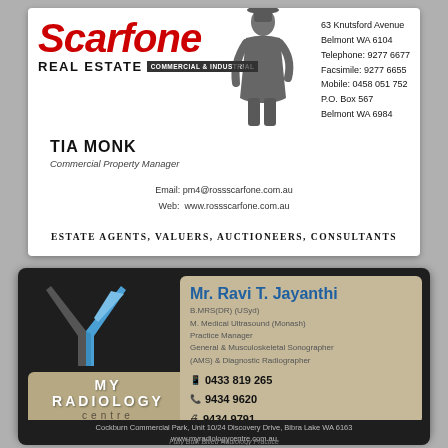[Figure (logo): Scarfone Real Estate business card with red italic logo, person silhouette, contact details for Tia Monk]
Scarfone REAL ESTATE COMMERCIAL & INDUSTRIAL
TIA MONK
Commercial Property Manager
63 Knutsford Avenue
Belmont WA 6104
Telephone: 9277 6677
Facsimile: 9277 6655
Mobile: 0458 051 752
P.O. Box 567
Belmont WA 6984
Email: pm4@rossscarfone.com.au
Web: www.rossscarfone.com.au
ESTATE AGENTS, VALUERS, AUCTIONEERS, CONSULTANTS
[Figure (logo): My Radiology Centre business card with Y logo and contact details for Mr. Ravi T. Jayanthi]
Mr. Ravi T. Jayanthi
B.MRS(DR) (USyd)
M. Medical Ultrasound (Monash)
Practice Manager
General & Musculoskeletal Sonographer (AMS) & Diagnostic Radiographer
0433 819 265
9434 9620
9434 9791
raviteja.jayanthi@gmail.com
MY RADIOLOGY centre
Cockburn Commercial Park, Unit 10/24 Discovery Drive, Bibra Lake WA 6163
www.myradiologycentre.com.au
Fully Bulk Billed Radiology Practice